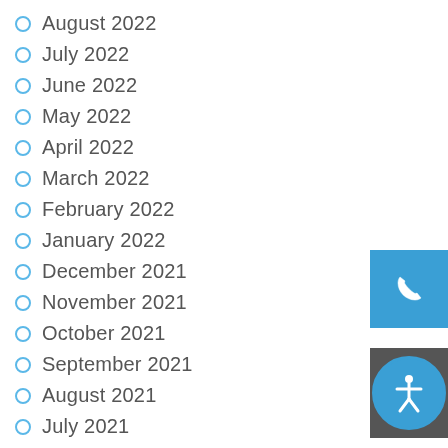August 2022
July 2022
June 2022
May 2022
April 2022
March 2022
February 2022
January 2022
December 2021
November 2021
October 2021
September 2021
August 2021
July 2021
June 2021
May 2021
April 2021
[Figure (illustration): Blue phone button widget in bottom right corner]
[Figure (illustration): Accessibility icon widget in bottom right corner]